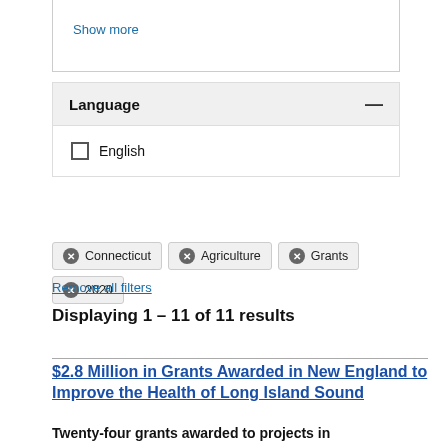Show more
Language
English
Connecticut  Agriculture  Grants  2020
Remove all filters
Displaying 1 – 11 of 11 results
$2.8 Million in Grants Awarded in New England to Improve the Health of Long Island Sound
Twenty-four grants awarded to projects in